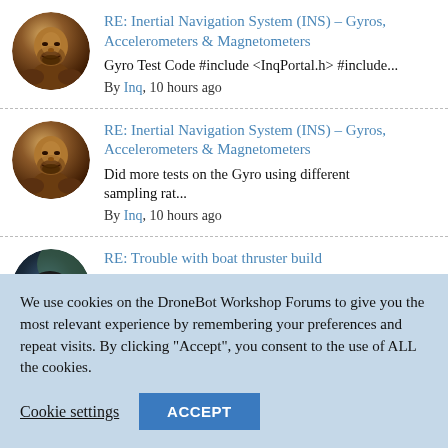[Figure (photo): Round avatar showing a bronze statue of a bearded figure]
RE: Inertial Navigation System (INS) – Gyros, Accelerometers & Magnetometers
Gyro Test Code #include <InqPortal.h> #include... By Inq, 10 hours ago
[Figure (photo): Round avatar showing a bronze statue of a bearded figure]
RE: Inertial Navigation System (INS) – Gyros, Accelerometers & Magnetometers
Did more tests on the Gyro using different sampling rat... By Inq, 10 hours ago
[Figure (photo): Round avatar showing a black dog]
RE: Trouble with boat thruster build
@inq Something to remember is the way that MOSFET's are...
We use cookies on the DroneBot Workshop Forums to give you the most relevant experience by remembering your preferences and repeat visits. By clicking "Accept", you consent to the use of ALL the cookies.
Cookie settings
ACCEPT